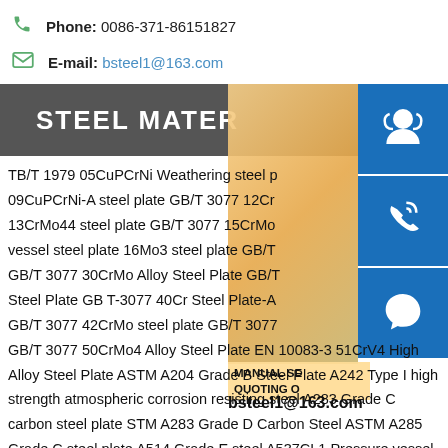Phone: 0086-371-86151827
E-mail: bsteel1@163.com
STEEL MATER
TB/T 1979 05CuPCrNi Weathering steel p 09CuPCrNi-A steel plate GB/T 3077 12Cr 13CrMo44 steel plate GB/T 3077 15CrMo vessel steel plate 16Mo3 steel plate GB/T GB/T 3077 30CrMo Alloy Steel Plate GB/T Steel Plate GB T-3077 40Cr Steel Plate-A GB/T 3077 42CrMo steel plate GB/T 3077 GB/T 3077 50CrMo4 Alloy Steel Plate EN 10083-3 51CrV4 High Alloy Steel Plate ASTM A204 Grade B Steel Plate A242 Type I high strength atmospheric corrosion resisting steel A283 Grade C carbon steel plate STM A283 Grade D Carbon Steel ASTM A285 Grade C steel plate A514 Grade E steel A537CL1 Pressure vessel steel plate ASTM A572/A572M A572 Grade 50 steel A572 Grade
[Figure (photo): Woman with headset customer service photo with blue contact icons on right side (headset icon, phone icon, Skype icon) and overlay text MANUAL SE... QUOTING O... bsteel1@163.com]